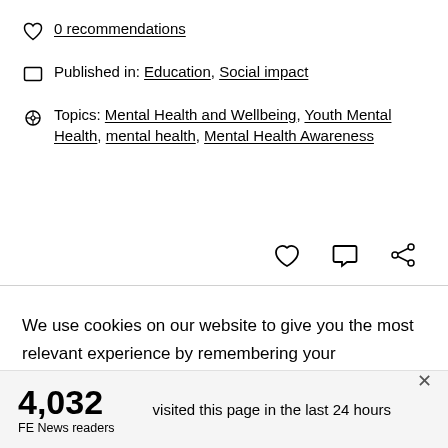0 recommendations
Published in: Education, Social impact
Topics: Mental Health and Wellbeing, Youth Mental Health, mental health, Mental Health Awareness
We use cookies on our website to give you the most relevant experience by remembering your preferences and repeat visits. By clicking “Accept”, you consent to the use of ALL the cookies. However you may visit Cookie
4,032
FE News readers
visited this page in the last 24 hours